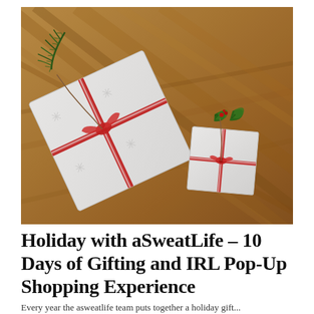[Figure (photo): Overhead view of two white gift boxes with red and white twine ribbon, decorated with green pine/holly sprigs, placed on a warm wooden floor background.]
Holiday with aSweatLife – 10 Days of Gifting and IRL Pop-Up Shopping Experience
Every year the asweatlife team puts together a holiday gift...